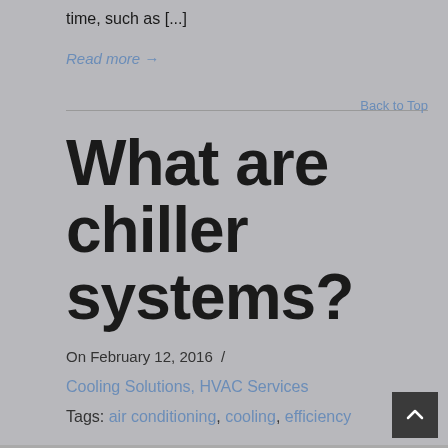time, such as [...]
Read more →
Back to Top
What are chiller systems?
On February 12, 2016 /
Cooling Solutions, HVAC Services
Tags: air conditioning, cooling, efficiency